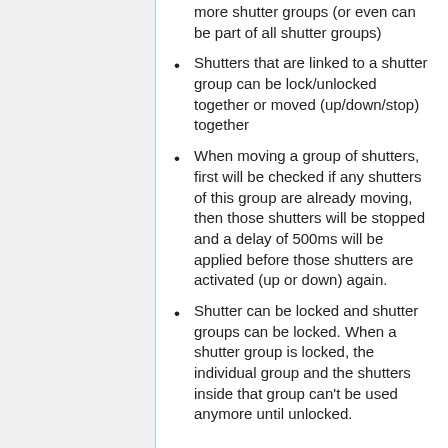more shutter groups (or even can be part of all shutter groups)
Shutters that are linked to a shutter group can be lock/unlocked together or moved (up/down/stop) together
When moving a group of shutters, first will be checked if any shutters of this group are already moving, then those shutters will be stopped and a delay of 500ms will be applied before those shutters are activated (up or down) again.
Shutter can be locked and shutter groups can be locked. When a shutter group is locked, the individual group and the shutters inside that group can't be used anymore until unlocked.